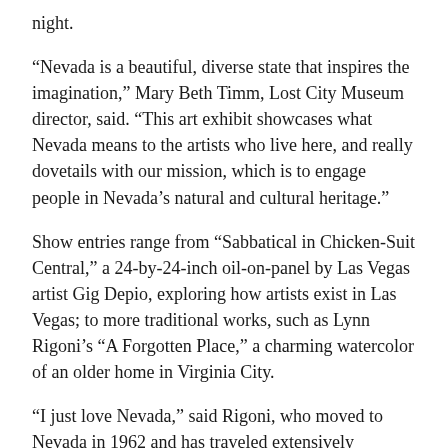night.
“Nevada is a beautiful, diverse state that inspires the imagination,” Mary Beth Timm, Lost City Museum director, said. “This art exhibit showcases what Nevada means to the artists who live here, and really dovetails with our mission, which is to engage people in Nevada’s natural and cultural heritage.”
Show entries range from “Sabbatical in Chicken-Suit Central,” a 24-by-24-inch oil-on-panel by Las Vegas artist Gig Depio, exploring how artists exist in Las Vegas; to more traditional works, such as Lynn Rigoni’s “A Forgotten Place,” a charming watercolor of an older home in Virginia City.
“I just love Nevada,” said Rigoni, who moved to Nevada in 1962 and has traveled extensively throughout the state. “I feel like I’m a part of it.”